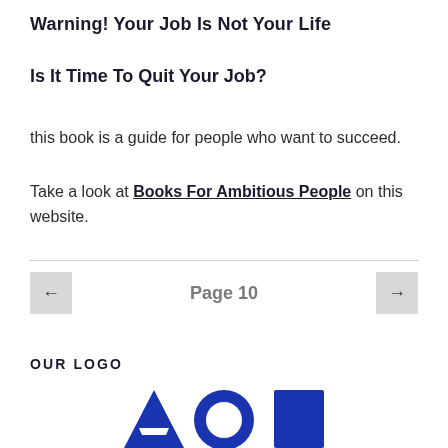Warning! Your Job Is Not Your Life
Is It Time To Quit Your Job?
this book is a guide for people who want to succeed.
Take a look at Books For Ambitious People on this website.
Page 10
OUR LOGO
[Figure (logo): Partial logo visible at bottom of page showing large blue letters/shapes]